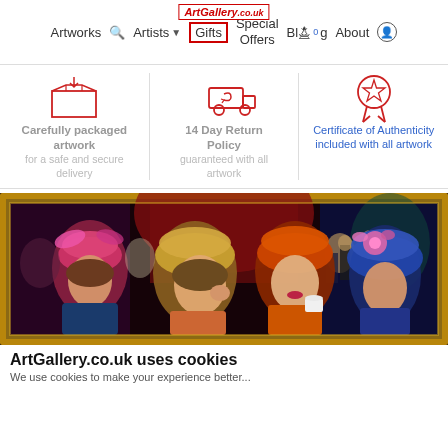Artworks  Artists  Gifts  ArtGallery.co.uk  Special Offers  Blog 0  About  [user icon]
[Figure (infographic): Three feature icons: packaged box, return truck, certificate of authenticity award ribbon]
Carefully packaged artwork
for a safe and secure delivery
14 Day Return Policy
guaranteed with all artwork
Certificate of Authenticity included with all artwork
[Figure (photo): Oil painting in a gold frame showing four women in 1920s-style hats at a party or social gathering, set against a colorful background with other figures]
ArtGallery.co.uk uses cookies
We use cookies to make your experience better...